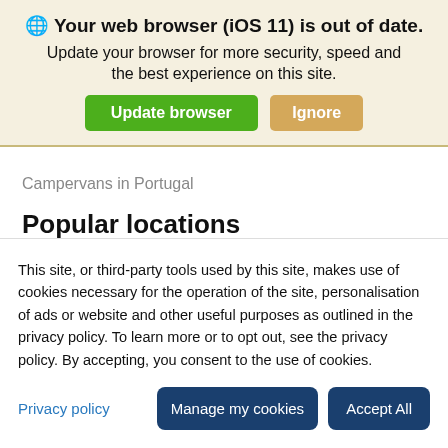🌐 Your web browser (iOS 11) is out of date.
Update your browser for more security, speed and the best experience on this site.
Campervans in Portugal
Popular locations
Campervans in London
This site, or third-party tools used by this site, makes use of cookies necessary for the operation of the site, personalisation of ads or website and other useful purposes as outlined in the privacy policy. To learn more or to opt out, see the privacy policy. By accepting, you consent to the use of cookies.
Privacy policy
Manage my cookies
Accept All